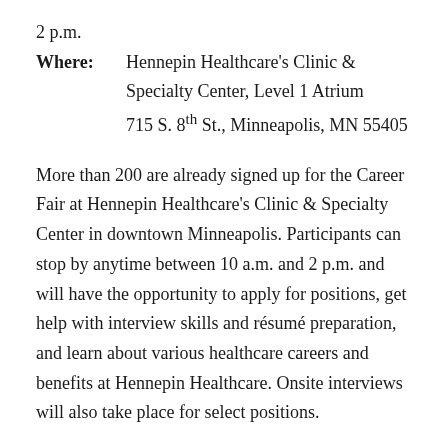2 p.m.
Where: Hennepin Healthcare's Clinic & Specialty Center, Level 1 Atrium
715 S. 8th St., Minneapolis, MN 55405
More than 200 are already signed up for the Career Fair at Hennepin Healthcare's Clinic & Specialty Center in downtown Minneapolis. Participants can stop by anytime between 10 a.m. and 2 p.m. and will have the opportunity to apply for positions, get help with interview skills and résumé preparation, and learn about various healthcare careers and benefits at Hennepin Healthcare. Onsite interviews will also take place for select positions.
“We look forward to meeting our future healthcare